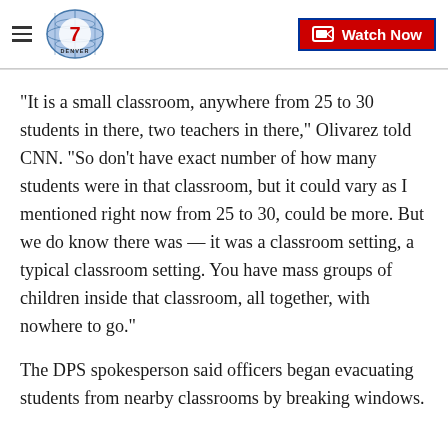Denver 7 — Watch Now
"It is a small classroom, anywhere from 25 to 30 students in there, two teachers in there," Olivarez told CNN. "So don't have exact number of how many students were in that classroom, but it could vary as I mentioned right now from 25 to 30, could be more. But we do know there was — it was a classroom setting, a typical classroom setting. You have mass groups of children inside that classroom, all together, with nowhere to go."
The DPS spokesperson said officers began evacuating students from nearby classrooms by breaking windows.